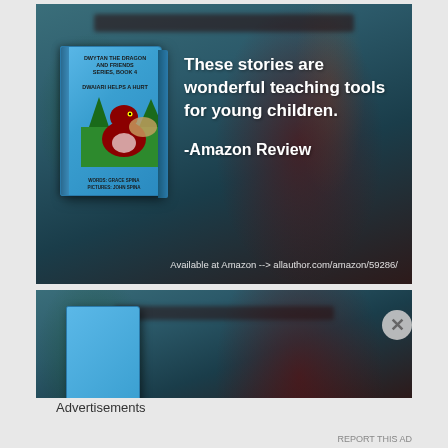[Figure (illustration): Advertisement banner for a children's book 'Dwytan The Dragon And Friends' series. Shows a book cover with a red dragon illustration on a blue background, next to a quote: 'These stories are wonderful teaching tools for young children. -Amazon Review'. Bottom text reads: Available at Amazon --> allauthor.com/amazon/59286/]
Available at Amazon --> allauthor.com/amazon/59286/
[Figure (illustration): Partial second advertisement banner, same series, showing partial book cover and blurred background dragon illustration.]
Advertisements